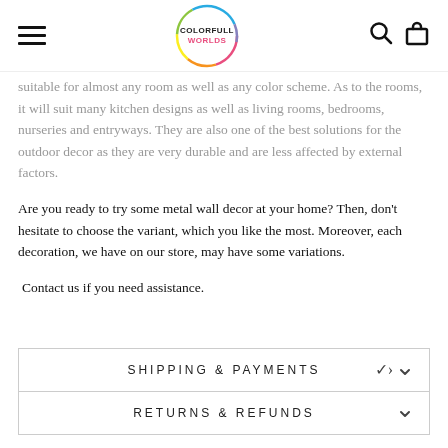COLORFULL WORLDS
suitable for almost any room as well as any color scheme. As to the rooms, it will suit many kitchen designs as well as living rooms, bedrooms, nurseries and entryways. They are also one of the best solutions for the outdoor decor as they are very durable and are less affected by external factors.
Are you ready to try some metal wall decor at your home? Then, don't hesitate to choose the variant, which you like the most. Moreover, each decoration, we have on our store, may have some variations.
Contact us if you need assistance.
SHIPPING & PAYMENTS
RETURNS & REFUNDS